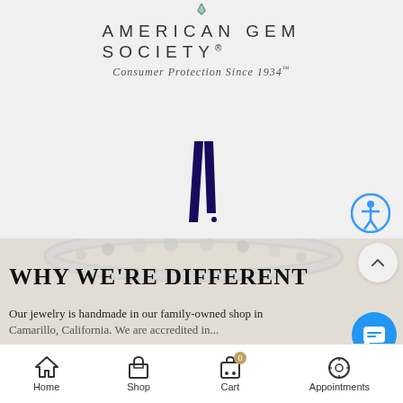[Figure (logo): American Gem Society logo with gem icon, text 'AMERICAN GEM SOCIETY' and tagline 'Consumer Protection Since 1934™']
[Figure (logo): Jewelers of America logo with two dark navy parallelogram shapes forming a stylized 'J' mark and text 'JEWELERS OF AMERICA']
[Figure (illustration): Decorative bracelet image at top of bottom section]
WHY WE'RE DIFFERENT
Our jewelry is handmade in our family-owned shop in Camarillo, California. We are accredited in...
[Figure (screenshot): Navigation bar with Home, Shop, Cart (with 0 badge), and Appointments icons]